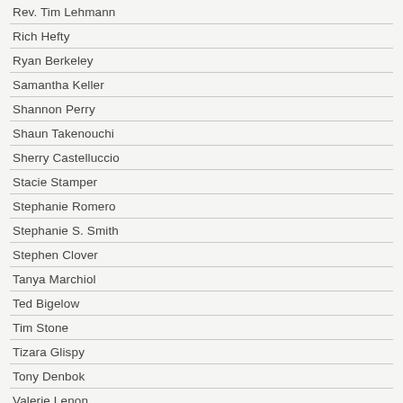Rev. Tim Lehmann
Rich Hefty
Ryan Berkeley
Samantha Keller
Shannon Perry
Shaun Takenouchi
Sherry Castelluccio
Stacie Stamper
Stephanie Romero
Stephanie S. Smith
Stephen Clover
Tanya Marchiol
Ted Bigelow
Tim Stone
Tizara Glispy
Tony Denbok
Valerie Lenon